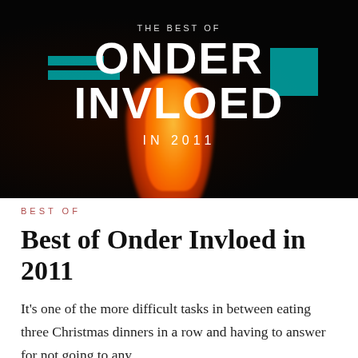[Figure (photo): Dark moody photograph of a glowing orange cocktail drink in what appears to be a bar setting. Overlaid text reads 'THE BEST OF ONDER INVLOED IN 2011' in white bold sans-serif typography.]
BEST OF
Best of Onder Invloed in 2011
It's one of the more difficult tasks in between eating three Christmas dinners in a row and having to answer for not going to any